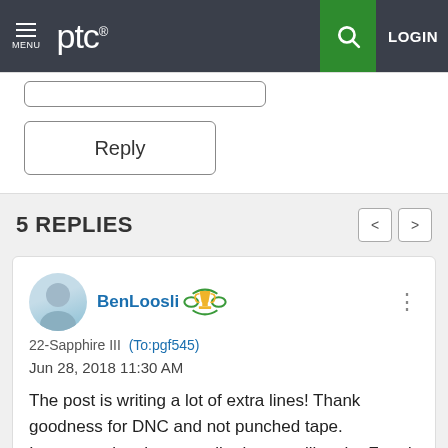ptc | MENU | LOGIN
[Figure (screenshot): Reply button UI element with input box and Reply button]
5 REPLIES
BenLoosli
22-Sapphire III (To:pgf545)
Jun 28, 2018 11:30 AM
The post is writing a lot of extra lines! Thank goodness for DNC and not punched tape.
I am guessing the controller is cancelling the F and Q values when it sees the G80.